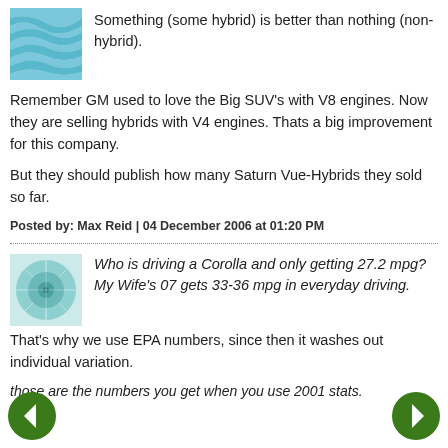Something (some hybrid) is better than nothing (non-hybrid).
Remember GM used to love the Big SUV’s with V8 engines. Now they are selling hybrids with V4 engines. Thats a big improvement for this company.
But they should publish how many Saturn Vue-Hybrids they sold so far.
Posted by: Max Reid | 04 December 2006 at 01:20 PM
Who is driving a Corolla and only getting 27.2 mpg? My Wife’s 07 gets 33-36 mpg in everyday driving.
That’s why we use EPA numbers, since then it washes out individual variation.
those are the numbers you get when you use 2001 stats.